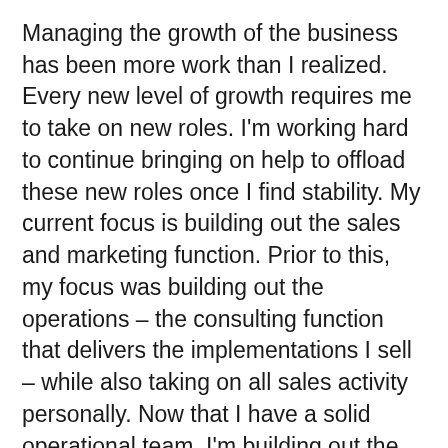Managing the growth of the business has been more work than I realized. Every new level of growth requires me to take on new roles. I'm working hard to continue bringing on help to offload these new roles once I find stability. My current focus is building out the sales and marketing function. Prior to this, my focus was building out the operations – the consulting function that delivers the implementations I sell – while also taking on all sales activity personally. Now that I have a solid operational team, I'm building out the sales and marketing team.
All that said, I'm stepping back my goal to one time per month until I get more foundation laid in making the business more self-sufficient without my daily presence. It's a long game!